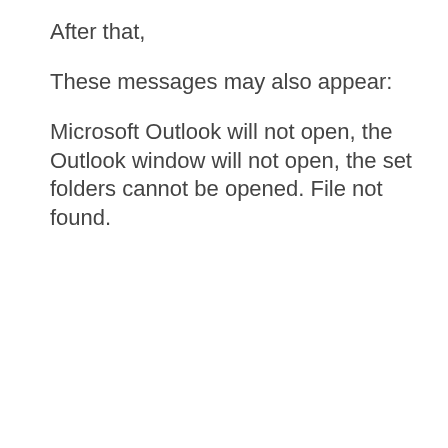After that,
These messages may also appear:
Microsoft Outlook will not open, the Outlook window will not open, the set folders cannot be opened. File not found.
[Figure (screenshot): Windows dialog box titled 'Outlook データ ファイル' with a warning icon and Japanese text about an invalid file path for a .pst file, with an OK button.]